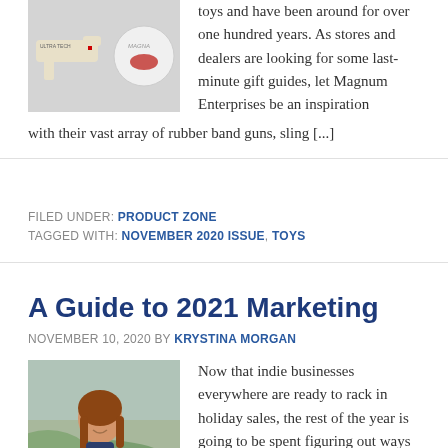[Figure (photo): Two product images: a toy gun labeled Ultra Tech and a round tin with Magnum/lips logo]
toys and have been around for over one hundred years. As stores and dealers are looking for some last-minute gift guides, let Magnum Enterprises be an inspiration with their vast array of rubber band guns, sling [...]
FILED UNDER: PRODUCT ZONE
TAGGED WITH: NOVEMBER 2020 ISSUE, TOYS
A Guide to 2021 Marketing
NOVEMBER 10, 2020 BY KRYSTINA MORGAN
[Figure (photo): Young woman smiling and looking at her phone outdoors]
Now that indie businesses everywhere are ready to rack in holiday sales, the rest of the year is going to be spent figuring out ways to retain all